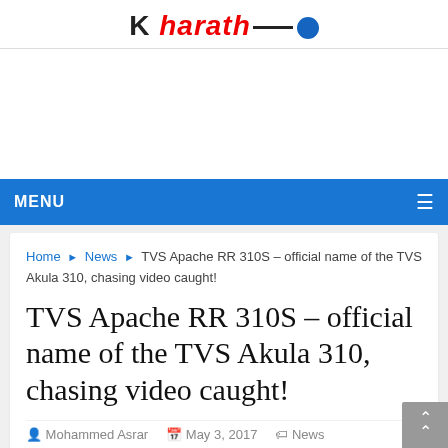Harath (logo)
MENU (navigation bar)
Home ▶ News ▶ TVS Apache RR 310S – official name of the TVS Akula 310, chasing video caught!
TVS Apache RR 310S – official name of the TVS Akula 310, chasing video caught!
Mohammed Asrar   May 3, 2017   News